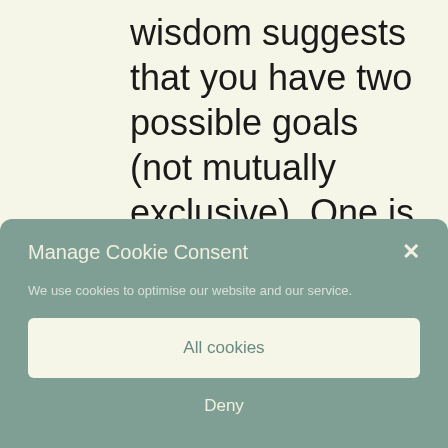wisdom suggests that you have two possible goals (not mutually exclusive). One is passing an exam. Maybe you took French while in High School with no other goal than getting
Manage Cookie Consent
We use cookies to optimise our website and our service.
All cookies
Deny